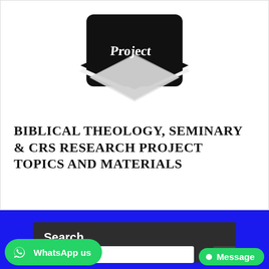[Figure (logo): Black graduation cap with the word 'Project' written on the mortarboard, illustrating academic project materials]
BIBLICAL THEOLOGY, SEMINARY & CRS RESEARCH PROJECT TOPICS AND MATERIALS
Search
WhatsApp us
Message